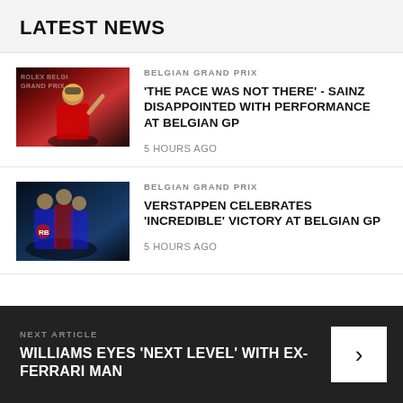LATEST NEWS
[Figure (photo): Carlos Sainz in Ferrari race suit on podium at Belgian Grand Prix, raising hand, with Rolex Belgian Grand Prix signage in background]
BELGIAN GRAND PRIX
'THE PACE WAS NOT THERE' - SAINZ DISAPPOINTED WITH PERFORMANCE AT BELGIAN GP
5 HOURS AGO
[Figure (photo): Verstappen celebrating with Red Bull team members in group embrace at Belgian Grand Prix]
BELGIAN GRAND PRIX
VERSTAPPEN CELEBRATES 'INCREDIBLE' VICTORY AT BELGIAN GP
5 HOURS AGO
NEXT ARTICLE
WILLIAMS EYES 'NEXT LEVEL' WITH EX-FERRARI MAN